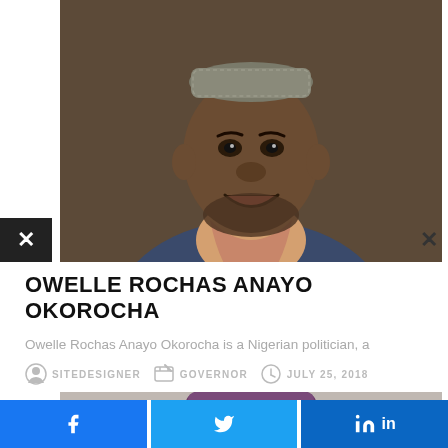[Figure (photo): Portrait photo of Owelle Rochas Anayo Okorocha, a man wearing a grey cap and blue blazer with traditional Nigerian attire, smiling, photographed against a dark brown background]
OWELLE ROCHAS ANAYO OKOROCHA
Owelle Rochas Anayo Okorocha is a Nigerian politician, a
SITEDESIGNER   GOVERNOR   JULY 25, 2018
[Figure (photo): Partial view of another photo showing top of a person's head with purple/maroon hat]
Facebook share button, Twitter share button, LinkedIn share button